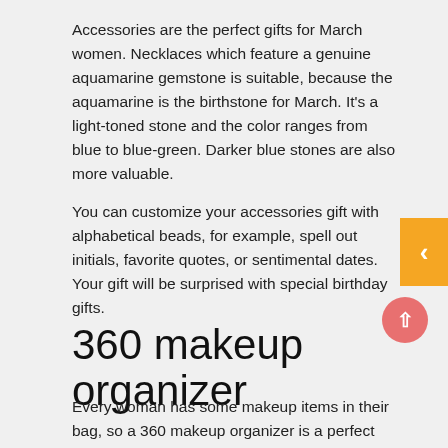Accessories are the perfect gifts for March women. Necklaces which feature a genuine aquamarine gemstone is suitable, because the aquamarine is the birthstone for March. It's a light-toned stone and the color ranges from blue to blue-green. Darker blue stones are also more valuable.
You can customize your accessories gift with alphabetical beads, for example, spell out initials, favorite quotes, or sentimental dates. Your gift will be surprised with special birthday gifts.
360 makeup organizer
Every woman has some makeup items in their bag, so a 360 makeup organizer is a perfect gift. It has both large and small compartments that give you a space dedicated to medium-sized bottles, including lotion, toner, as well as small items like eye cream. Almost all makeup organizers have 7 layers, so they can store up to 63 bottles and brushes.
There are lots of DIY makeup organizers. You can choose those items that your giftee can easily assemble and